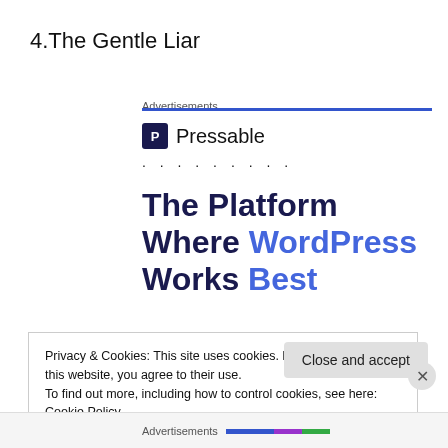4.The Gentle Liar
Advertisements
[Figure (logo): Pressable logo with blue icon showing letter P and text 'Pressable', followed by dots, then large bold heading 'The Platform Where WordPress Works Best' with 'WordPress' and 'Best' in blue]
Privacy & Cookies: This site uses cookies. By continuing to use this website, you agree to their use. To find out more, including how to control cookies, see here: Cookie Policy
Close and accept
Advertisements